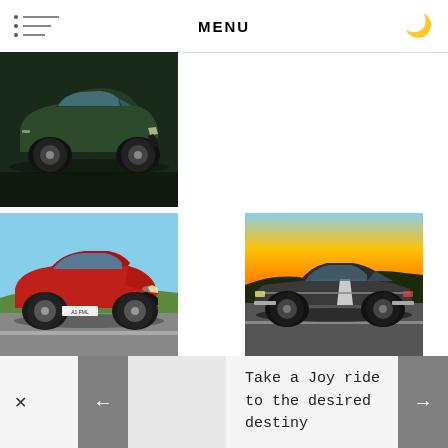MENU
[Figure (photo): Dark green luxury SUV (Aston Martin DBX or similar) photographed from the side in a moody indoor/parking setting]
[Figure (photo): Red Aston Martin DBX SUV photographed from the front-left on a road/track]
[Figure (photo): Classic dark muscle car (Dodge Charger or similar) photographed against a golden sunset sky]
Take a Joy ride to the desired destiny